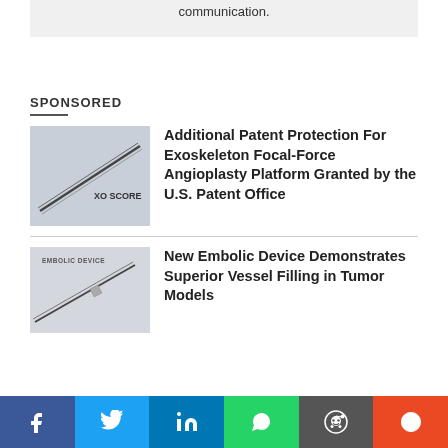communication.
SPONSORED
Additional Patent Protection For Exoskeleton Focal-Force Angioplasty Platform Granted by the U.S. Patent Office
[Figure (photo): Medical device image with XO SCORE branding — thin elongated instrument on light background]
New Embolic Device Demonstrates Superior Vessel Filling in Tumor Models
[Figure (photo): Embolic Device image with needle/device on light background, text reads EMBOLIC DEVICE]
Facebook | Twitter | LinkedIn | WhatsApp | Reddit | StumbleUpon